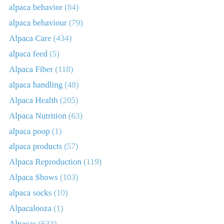alpaca behavior (84)
alpaca behaviour (79)
Alpaca Care (434)
alpaca feed (5)
Alpaca Fiber (118)
alpaca handling (48)
Alpaca Health (205)
Alpaca Nutrition (63)
alpaca poop (1)
alpaca products (57)
Alpaca Reproduction (119)
Alpaca Shows (103)
alpaca socks (10)
Alpacalooza (1)
Alpacas (633)
Blogroll (11)
camelids (571)
Cria Care (61)
Crias (330)
Fallpacapalooza (2)